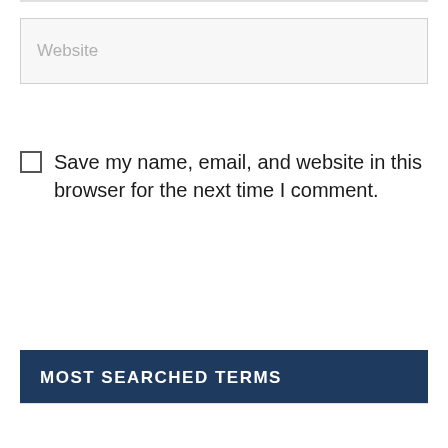Website
Save my name, email, and website in this browser for the next time I comment.
Post Comment »
MOST SEARCHED TERMS